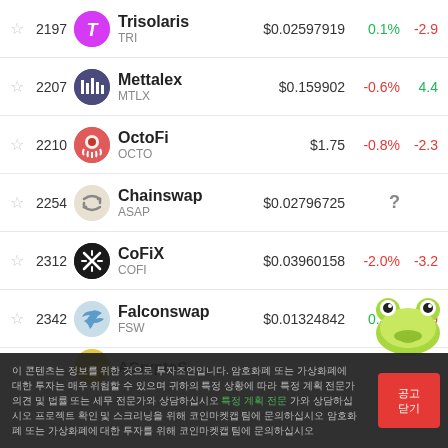2197 Trisolaris TRI $0.02597919 0.1% -2.9
2207 Mettalex MTLX $0.159902 -0.6% 4.4
2210 OctoFi OCTO $1.75 -0.8% -2.3
2254 Chainswap ASAP $0.02796725 ?
2312 CoFiX COFI $0.03960158 -2.0% -3.2
2342 Falconswap FSW $0.01324842 0.3% -1.9
ACryptoS...
이 콘텐츠는 정보를 위한 것으로 투자조언입니다. 암호화폐 또는 가상화폐에 대한 투자는 매우 위험할 수 있으며 귀하의 특정 상황에 따라 특정 계획 전문가 의견 및 법률 또는 세무 전문가와 상담하십시오 프로젝트 확인 및 스크리닝을 위해 코인마켓캡 테팀에 문의하십시오